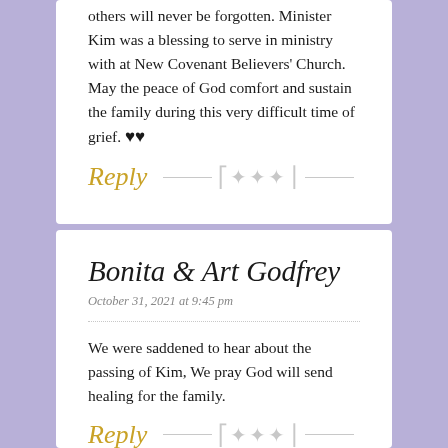others will never be forgotten. Minister Kim was a blessing to serve in ministry with at New Covenant Believers' Church. May the peace of God comfort and sustain the family during this very difficult time of grief. ♥♥
Reply
Bonita & Art Godfrey
October 31, 2021 at 9:45 pm
We were saddened to hear about the passing of Kim, We pray God will send healing for the family.
Reply